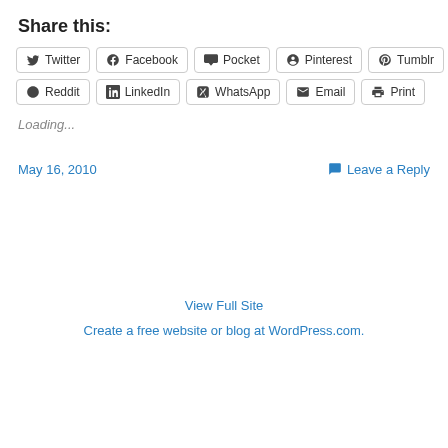Share this:
Twitter
Facebook
Pocket
Pinterest
Tumblr
Reddit
LinkedIn
WhatsApp
Email
Print
Loading...
May 16, 2010
Leave a Reply
View Full Site
Create a free website or blog at WordPress.com.